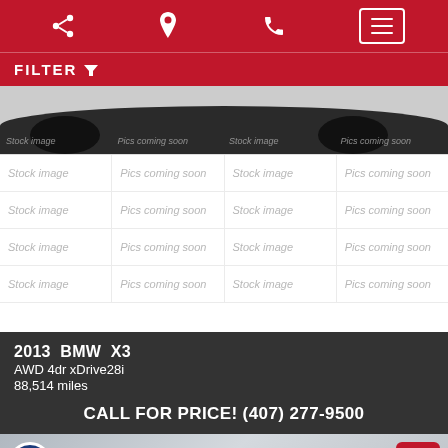Navigation bar with share, location, phone, and menu icons
FILTER
[Figure (photo): Car dealership listing page showing a BMW X3 partial view at top, followed by a grid of placeholder thumbnail cells labeled 'Stock image' and 'Pics coming soon']
2013 BMW X3
AWD 4dr xDrive28i
88,514 miles
CALL FOR PRICE! (407) 277-9500
[Figure (photo): Bottom of page showing partial vehicle photo with accessibility button and scroll-to-top button]